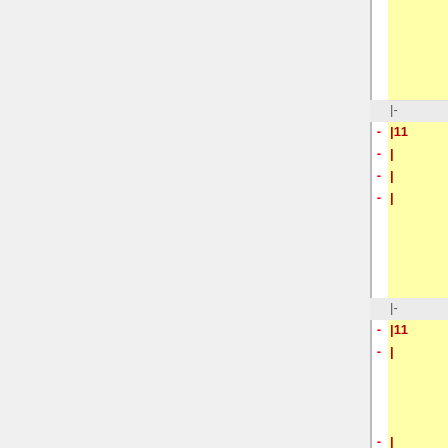| -/+ | Left | -/+ | Right |
| --- | --- | --- | --- |
|  | (yellow cell - link content) |  | [https://youtu.be/Q-b-tKAtPtc?t=76 video] |
|  | |- |  | |- |
| - | |11 | + | |November 18 |
| - | | | + | |Dataset Dynamics |
| - | | | + | |Petr Mokrov |
| - | | | + | | [https://drive.google.com/file/d/1cpG9MBNOG0_IirEchKihuXJBDouJ1dt2/view?usp=sharing slides] [https://youtu.be/Q-b-tKAtPtc?t=1753 video] |
|  | |- |  | |- |
| - | |11 | + | |November 18 |
| - | | | + | |Geometric manifolds, Levy-Chivita operator and the curvature of tensors |
| - | | | + | |Kolesov Alexander |